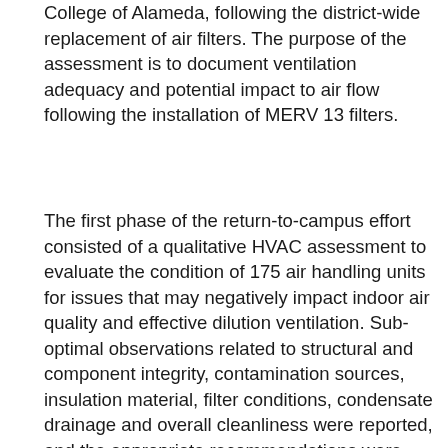College of Alameda, following the district-wide replacement of air filters. The purpose of the assessment is to document ventilation adequacy and potential impact to air flow following the installation of MERV 13 filters.
The first phase of the return-to-campus effort consisted of a qualitative HVAC assessment to evaluate the condition of 175 air handling units for issues that may negatively impact indoor air quality and effective dilution ventilation. Sub-optimal observations related to structural and component integrity, contamination sources, insulation material, filter conditions, condensate drainage and overall cleanliness were reported, and the appropriate recommendations were furnished for each inspected unit. Units that were significantly damaged were highlighted and it was recommended that an appropriately qualified HVAC professional determine repair vs. replacement of components/units. Furthermore, recommendations were categorized based on in-house immediate mitigations or